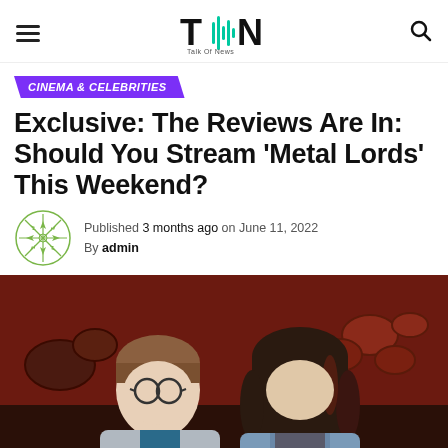Talk Of News
CINEMA & CELEBRITIES
Exclusive: The Reviews Are In: Should You Stream 'Metal Lords' This Weekend?
Published 3 months ago on June 11, 2022
By admin
[Figure (photo): Two teenage boys in a music instrument store with drums in the background. One boy wears glasses and a grey hoodie; the other has long dark hair with reddish highlights and wears a denim jacket.]